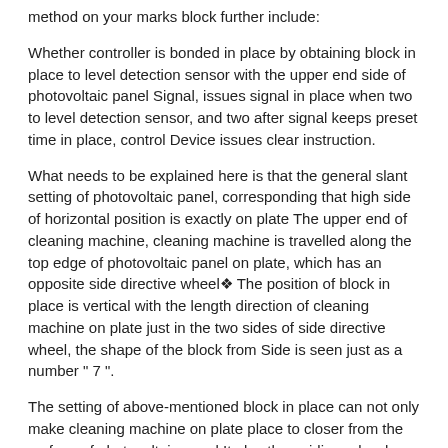method on your marks block further include:
Whether controller is bonded in place by obtaining block in place to level detection sensor with the upper end side of photovoltaic panel Signal, issues signal in place when two to level detection sensor, and two after signal keeps preset time in place, control Device issues clear instruction.
What needs to be explained here is that the general slant setting of photovoltaic panel, corresponding that high side of horizontal position is exactly on plate The upper end of cleaning machine, cleaning machine is travelled along the top edge of photovoltaic panel on plate, which has an opposite side directive wheel❖ The position of block in place is vertical with the length direction of cleaning machine on plate just in the two sides of side directive wheel, the shape of the block from Side is seen just as a number " 7 ".
The setting of above-mentioned block in place can not only make cleaning machine on plate place to closer from the surface of photovoltaic panel It play the guiding role when position, allows on plate cleaning machine that can find